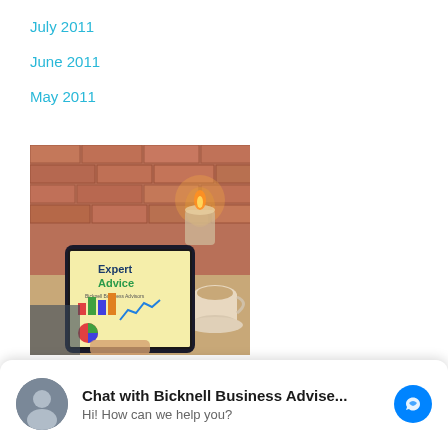July 2011
June 2011
May 2011
[Figure (photo): Person holding a tablet showing 'Expert Advice - Bicknell Business Advisors' cover with charts and graphs, on a table with coffee and a candle, brick wall background]
Chat with Bicknell Business Advise... Hi! How can we help you?